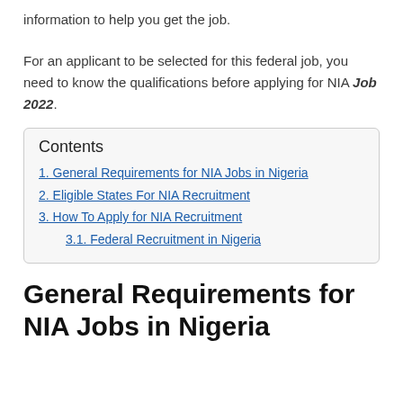information to help you get the job.
For an applicant to be selected for this federal job, you need to know the qualifications before applying for NIA Job 2022.
Contents
1. General Requirements for NIA Jobs in Nigeria
2. Eligible States For NIA Recruitment
3. How To Apply for NIA Recruitment
3.1. Federal Recruitment in Nigeria
General Requirements for NIA Jobs in Nigeria